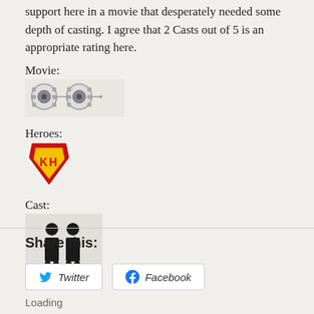support here in a movie that desperately needed some depth of casting. I agree that 2 Casts out of 5 is an appropriate rating here.
Movie:
[Figure (illustration): Two film reel icons representing a movie rating of 2 out of 5]
Heroes:
[Figure (illustration): A Superman-style shield logo icon in red and yellow representing heroes rating]
Cast:
[Figure (illustration): Two pixelated person/people icons representing cast rating of 2 out of 5]
Share this:
Twitter
Facebook
Loading